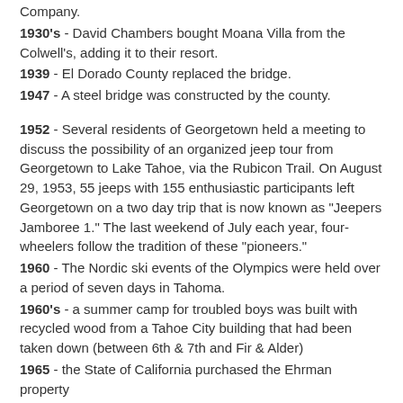Company.
1930's - David Chambers bought Moana Villa from the Colwell's, adding it to their resort.
1939 - El Dorado County replaced the bridge.
1947 - A steel bridge was constructed by the county.
1952 - Several residents of Georgetown held a meeting to discuss the possibility of an organized jeep tour from Georgetown to Lake Tahoe, via the Rubicon Trail. On August 29, 1953, 55 jeeps with 155 enthusiastic participants left Georgetown on a two day trip that is now known as "Jeepers Jamboree 1." The last weekend of July each year, four-wheelers follow the tradition of these "pioneers."
1960 - The Nordic ski events of the Olympics were held over a period of seven days in Tahoma.
1960's - a summer camp for troubled boys was built with recycled wood from a Tahoe City building that had been taken down (between 6th & 7th and Fir & Alder)
1965 - the State of California purchased the Ehrman property